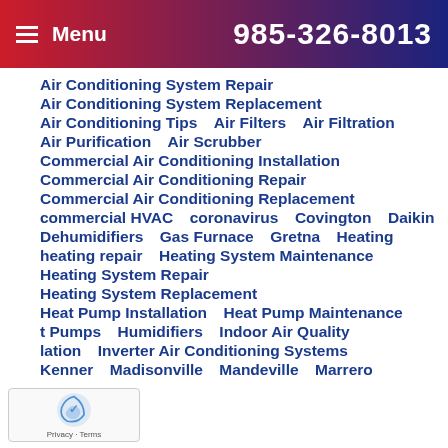Menu  985-326-8013
Air Conditioning System Repair
Air Conditioning System Replacement
Air Conditioning Tips   Air Filters   Air Filtration
Air Purification   Air Scrubber
Commercial Air Conditioning Installation
Commercial Air Conditioning Repair
Commercial Air Conditioning Replacement
commercial HVAC   coronavirus   Covington   Daikin
Dehumidifiers   Gas Furnace   Gretna   Heating
heating repair   Heating System Maintenance
Heating System Repair
Heating System Replacement
Heat Pump Installation   Heat Pump Maintenance
Heat Pumps   Humidifiers   Indoor Air Quality
Insulation   Inverter Air Conditioning Systems
Kenner   Madisonville   Mandeville   Marrero